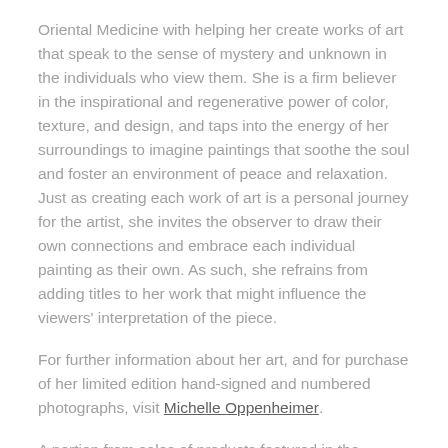Oriental Medicine with helping her create works of art that speak to the sense of mystery and unknown in the individuals who view them. She is a firm believer in the inspirational and regenerative power of color, texture, and design, and taps into the energy of her surroundings to imagine paintings that soothe the soul and foster an environment of peace and relaxation. Just as creating each work of art is a personal journey for the artist, she invites the observer to draw their own connections and embrace each individual painting as their own. As such, she refrains from adding titles to her work that might influence the viewers' interpretation of the piece.
For further information about her art, and for purchase of her limited edition hand-signed and numbered photographs, visit Michelle Oppenheimer.
A portion from sales of products featured in the Michelle Oppenheimer collection is paid back to the